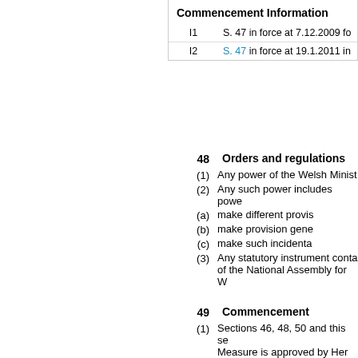| Commencement Information |  |
| --- | --- |
| I1 | S. 47 in force at 7.12.2009 fo... |
| I2 | S. 47 in force at 19.1.2011 in... |
48  Orders and regulations
(1)  Any power of the Welsh Minist...
(2)  Any such power includes powe...
(a)  make different provis...
(b)  make provision gene...
(c)  make such incidenta...
(3)  Any statutory instrument conta... of the National Assembly for W...
49  Commencement
(1)  Sections 46, 48, 50 and this se... Measure is approved by Her M...
(2)  The remaining provisions of th... Different days may be appointe...
50  Short title